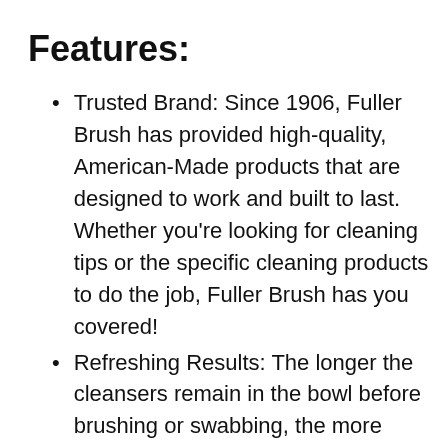Features:
Trusted Brand: Since 1906, Fuller Brush has provided high-quality, American-Made products that are designed to work and built to last. Whether you’re looking for cleaning tips or the specific cleaning products to do the job, Fuller Brush has you covered!
Refreshing Results: The longer the cleansers remain in the bowl before brushing or swabbing, the more effective the cleaning action will be. Let the pod work for you while you sleep to leave your bathroom smelling fresh and clean.